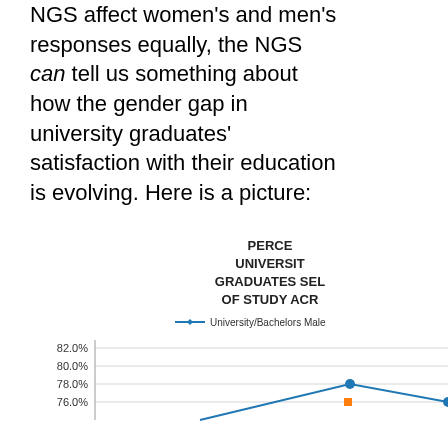NGS affect women's and men's responses equally, the NGS can tell us something about how the gender gap in university graduates' satisfaction with their education is evolving. Here is a picture:
[Figure (line-chart): PERCENTAGE OF UNIVERSITY GRADUATES SELECTING FIELD OF STUDY ACROSS YEARS]